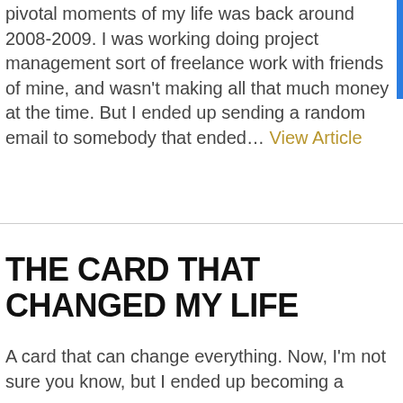pivotal moments of my life was back around 2008-2009. I was working doing project management sort of freelance work with friends of mine, and wasn't making all that much money at the time. But I ended up sending a random email to somebody that ended... View Article
THE CARD THAT CHANGED MY LIFE
A card that can change everything. Now, I'm not sure you know, but I ended up becoming a